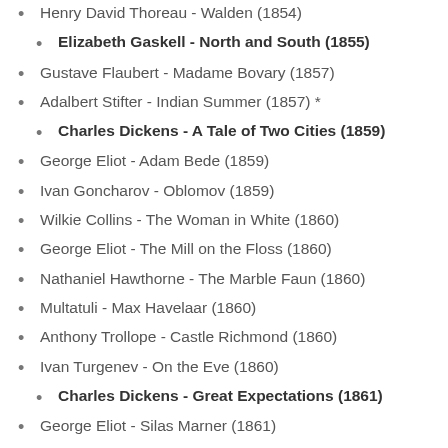Henry David Thoreau - Walden (1854)
Elizabeth Gaskell - North and South (1855)
Gustave Flaubert - Madame Bovary (1857)
Adalbert Stifter - Indian Summer (1857) *
Charles Dickens - A Tale of Two Cities (1859)
George Eliot - Adam Bede (1859)
Ivan Goncharov - Oblomov (1859)
Wilkie Collins - The Woman in White (1860)
George Eliot - The Mill on the Floss (1860)
Nathaniel Hawthorne - The Marble Faun (1860)
Multatuli - Max Havelaar (1860)
Anthony Trollope - Castle Richmond (1860)
Ivan Turgenev - On the Eve (1860)
Charles Dickens - Great Expectations (1861)
George Eliot - Silas Marner (1861)
Victor Hugo - Les Miserables (1862)
Ivan Turgenev - Fathers and Sons (1862)
Charles Kingsley - The Water Babies (1863)